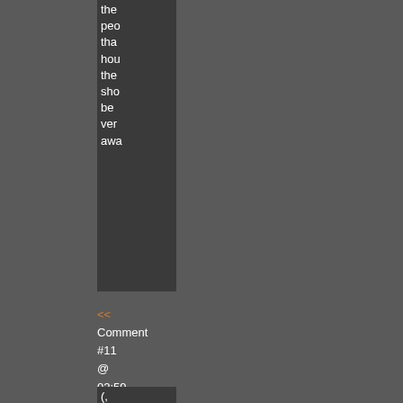the peo tha hou the sho be ver awa
<< Comment #11 @ 02:59 CDT, 4 April 2022 >>
(, ly) By [thumbnail] Te Q - Re to #1 D v